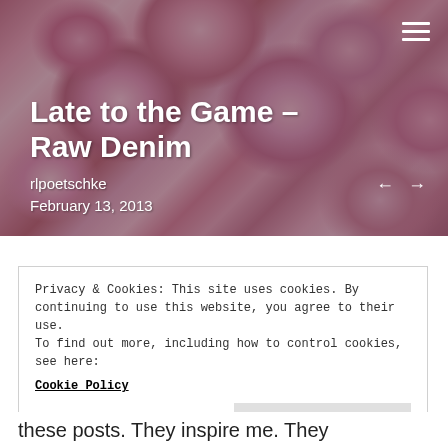[Figure (photo): Pink peony flowers filling the background of the hero image]
Late to the Game – Raw Denim
rlpoetschke
February 13, 2013
Privacy & Cookies: This site uses cookies. By continuing to use this website, you agree to their use.
To find out more, including how to control cookies, see here:
Cookie Policy
these posts. They inspire me. They